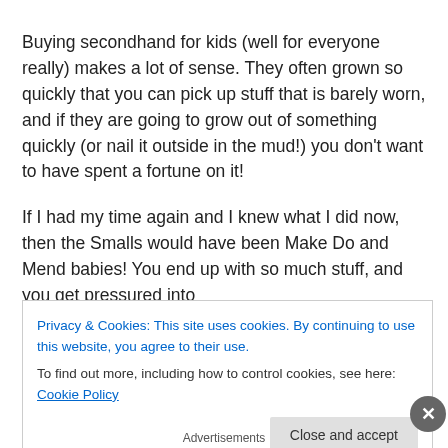Buying secondhand for kids (well for everyone really) makes a lot of sense. They often grown so quickly that you can pick up stuff that is barely worn, and if they are going to grow out of something quickly (or nail it outside in the mud!) you don't want to have spent a fortune on it!
If I had my time again and I knew what I did now, then the Smalls would have been Make Do and Mend babies! You end up with so much stuff, and you get pressured into
Privacy & Cookies: This site uses cookies. By continuing to use this website, you agree to their use.
To find out more, including how to control cookies, see here: Cookie Policy
Close and accept
Advertisements